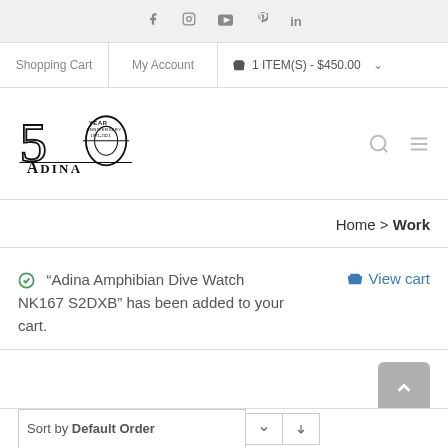Social icons: Facebook, Instagram, YouTube, Pinterest, LinkedIn
Shopping Cart | My Account | 🛒 1 ITEM(S) - $450.00 ∨
[Figure (logo): Adina Watches 50 Year Anniversary 1971-2021 logo]
Home > Work
✅ "Adina Amphibian Dive Watch NK167 S2DXB" has been added to your cart.
🛒 View cart
Sort by Default Order ∨ ↓